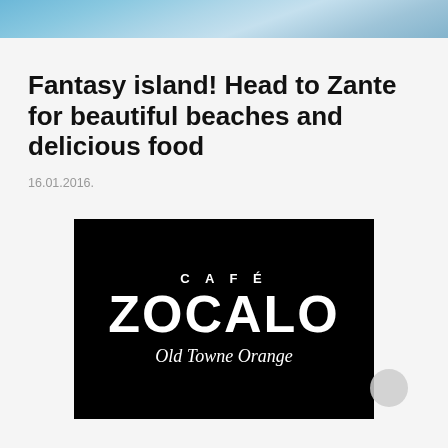[Figure (photo): Header image showing a scenic coastal or beach scene with blue water and rocks at the top of the page]
Fantasy island! Head to Zante for beautiful beaches and delicious food
16.01.2016.
[Figure (logo): Café Zocalo Old Towne Orange logo — white text on black square background with decorative compass-rose style O in Zocalo]